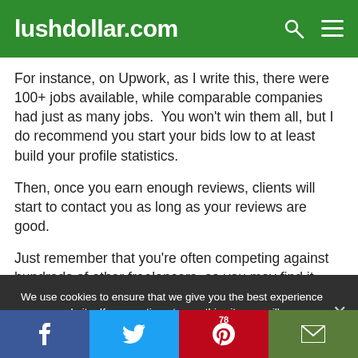lushdollar.com
For instance, on Upwork, as I write this, there were 100+ jobs available, while comparable companies had just as many jobs.  You won't win them all, but I do recommend you start your bids low to at least build your profile statistics.
Then, once you earn enough reviews, clients will start to contact you as long as your reviews are good.
Just remember that you're often competing against hundreds of other freelancers, so you may find it could take a while before you land your first gig.
We use cookies to ensure that we give you the best experience on our website. If you continue to use this site, we will assume that you are happy with it.